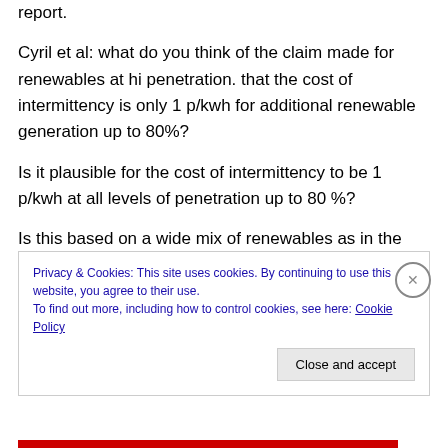report.
Cyril et al: what do you think of the claim made for renewables at hi penetration. that the cost of intermittency is only 1 p/kwh for additional renewable generation up to 80%?
Is it plausible for the cost of intermittency to be 1 p/kwh at all levels of penetration up to 80 %?
Is this based on a wide mix of renewables as in the intermittency graph shown? He doesn't say.
Privacy & Cookies: This site uses cookies. By continuing to use this website, you agree to their use.
To find out more, including how to control cookies, see here: Cookie Policy